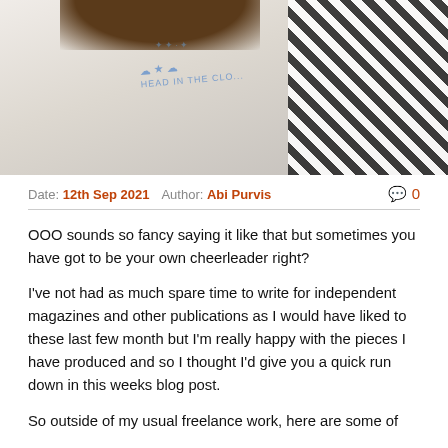[Figure (photo): Photo showing a person wearing a white t-shirt with cloud/star graphic design and striped fabric visible on the right side, partial view of hair at top]
Date: 12th Sep 2021   Author: Abi Purvis   🗨 0
OOO sounds so fancy saying it like that but sometimes you have got to be your own cheerleader right?
I've not had as much spare time to write for independent magazines and other publications as I would have liked to these last few month but I'm really happy with the pieces I have produced and so I thought I'd give you a quick run down in this weeks blog post.
So outside of my usual freelance work, here are some of